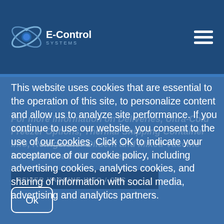[Figure (logo): E-Control Systems logo with orbital graphic and company name]
This website uses cookies that are essential to the operation of this site, to personalize content and allow us to analyze site performance. If you continue to use our website, you consent to the use of our cookies. Click OK to indicate your acceptance of our cookie policy, including advertising cookies, analytics cookies, and sharing of information with social media, advertising and analytics partners.
Ok